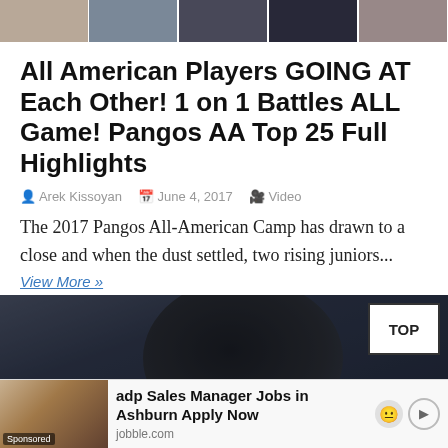[Figure (photo): Strip of sports/basketball photos at top of page]
All American Players GOING AT Each Other! 1 on 1 Battles ALL Game! Pangos AA Top 25 Full Highlights
Arek Kissoyan   June 4, 2017   Video
The 2017 Pangos All-American Camp has drawn to a close and when the dust settled, two rising juniors...
View More »
[Figure (photo): Basketball player close-up photo with dark background, navy/blue gymnasium setting]
TOP
adp Sales Manager Jobs in Ashburn Apply Now
jobble.com
Sponsored